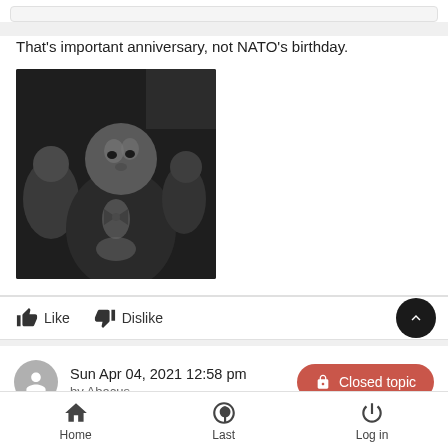That's important anniversary, not NATO's birthday.
[Figure (photo): Black and white photograph of a man in formal attire looking directly at camera, with other people visible in background]
Like   Dislike
Sun Apr 04, 2021 12:58 pm
by Abacus
Closed topic
WikiLeaks
Home   Last   Log in